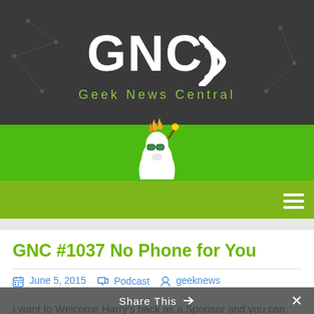[Figure (logo): Geek News Central logo with GNC text and signal arc icon on dark grey background, with tagline 'Geek News Central' in green below]
[Figure (illustration): Green navigation bar with cartoon goat mascot wearing sunglasses and holding a torch/wand, on bright green background. Hamburger menu icon in bottom right.]
GNC #1037 No Phone for You
June 5, 2015   Podcast   geeknews
I want to Welcome Harry's back as a Sponsor and you can get yourself an awesome shave by using